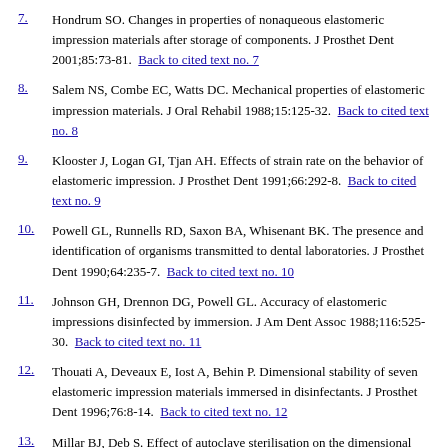7. Hondrum SO. Changes in properties of nonaqueous elastomeric impression materials after storage of components. J Prosthet Dent 2001;85:73-81. Back to cited text no. 7
8. Salem NS, Combe EC, Watts DC. Mechanical properties of elastomeric impression materials. J Oral Rehabil 1988;15:125-32. Back to cited text no. 8
9. Klooster J, Logan GI, Tjan AH. Effects of strain rate on the behavior of elastomeric impression. J Prosthet Dent 1991;66:292-8. Back to cited text no. 9
10. Powell GL, Runnells RD, Saxon BA, Whisenant BK. The presence and identification of organisms transmitted to dental laboratories. J Prosthet Dent 1990;64:235-7. Back to cited text no. 10
11. Johnson GH, Drennon DG, Powell GL. Accuracy of elastomeric impressions disinfected by immersion. J Am Dent Assoc 1988;116:525-30. Back to cited text no. 11
12. Thouati A, Deveaux E, Iost A, Behin P. Dimensional stability of seven elastomeric impression materials immersed in disinfectants. J Prosthet Dent 1996;76:8-14. Back to cited text no. 12
13. Millar BJ, Deb S. Effect of autoclave sterilisation on the dimensional stability and